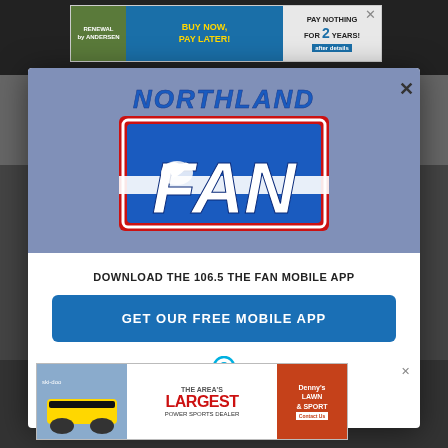[Figure (screenshot): Website background with dark header and mid-section]
[Figure (logo): Northland FAN radio station logo - blue and red FAN letters with white bird silhouette]
DOWNLOAD THE 106.5 THE FAN MOBILE APP
GET OUR FREE MOBILE APP
Also listen on: amazon alexa
[Figure (photo): Bottom advertisement for area's largest power sports dealer with snowmobile image]
[Figure (photo): Top advertisement: Renewal by Andersen - Buy Now, Pay Later! Pay Nothing for 2 Years!]